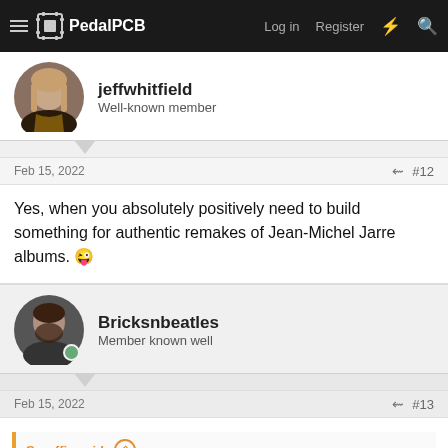PedalPCB — Log in  Register
[Figure (photo): Avatar of jeffwhitfield, a long-haired person in dark clothing]
jeffwhitfield
Well-known member
Feb 15, 2022   #12
Yes, when you absolutely positively need to build something for authentic remakes of Jean-Michel Jarre albums. 😜
[Figure (photo): Avatar of Bricksnbeatles]
Bricksnbeatles
Member known well
Feb 15, 2022   #13
Scruffie said:
I posted all the schematics to build a full blown guitar synth over here, just needs someone to do a layout...
https://www.diystompboxes.com/smfforum/index.php?topic=128615.msg1240673#msg1240673